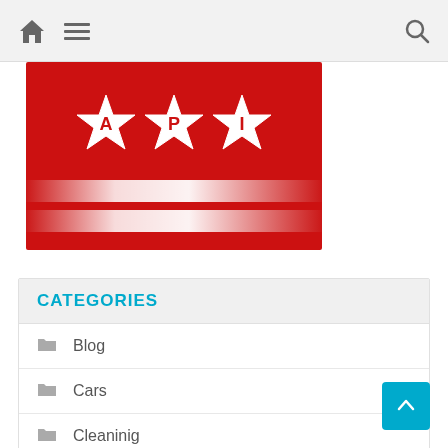Navigation bar with home icon, menu icon, and search icon
[Figure (logo): API logo on red background with three white stars containing letters A, P, and I, and two horizontal white stripe bands below]
CATEGORIES
Blog
Cars
Cleaninig
Democracy
Electronics
EU Withdrawal Bill